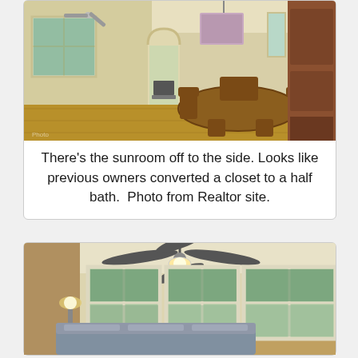[Figure (photo): Interior photo of a dining room with a round wood table, chairs, ceiling fan with light arch opening to sunroom, chandelier, hardwood floors, and kitchen visible in background. Photo from Realtor site.]
There's the sunroom off to the side. Looks like previous owners converted a closet to a half bath.  Photo from Realtor site.
[Figure (photo): Interior photo of a sunroom with ceiling fan, multiple windows with views of trees, a couch, and a floor lamp. Photo from Realtor site.]